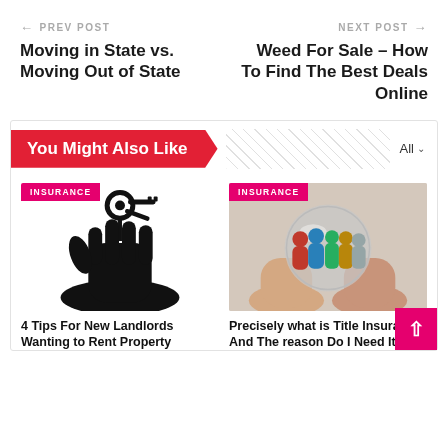← PREV POST | Moving in State vs. Moving Out of State
NEXT POST → | Weed For Sale – How To Find The Best Deals Online
You Might Also Like
[Figure (photo): Hand holding keys - illustration for landlord article with INSURANCE badge]
4 Tips For New Landlords Wanting to Rent Property
[Figure (photo): Hands cupping a glass globe with colorful human figures inside - title insurance illustration with INSURANCE badge]
Precisely what is Title Insurance And The reason Do I Need It